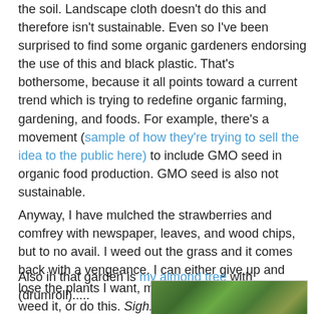the soil. Landscape cloth doesn't do this and therefore isn't sustainable. Even so I've been surprised to find some organic gardeners endorsing the use of this and black plastic. That's bothersome, because it all points toward a current trend which is trying to redefine organic farming, gardening, and foods. For example, there's a movement (sample of how they're trying to sell the idea to the public here) to include GMO seed in organic food production. GMO seed is also not sustainable.
Anyway, I have mulched the strawberries and comfrey with newspaper, leaves, and wood chips, but to no avail. I weed out the grass and it comes back with a vengeance. I can either give up and lose the plants I want, make it a full time job to weed it, or do this. Sigh. Hopefully I can get the grass smothered out by the time the landscape cloth needs replacing.
Also in that garden is my almond tree with (drumroll).....
[Figure (photo): Close-up photo of green plant leaves and stems, likely showing the almond tree or garden plants mentioned in the text above.]